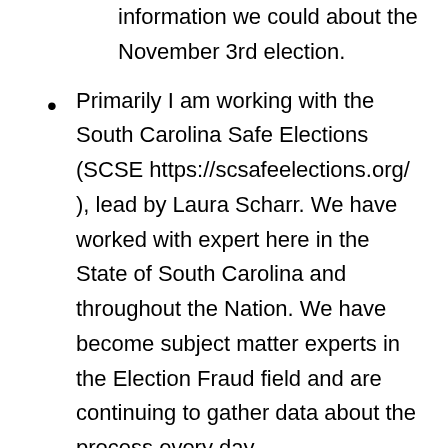information we could about the November 3rd election.
Primarily I am working with the South Carolina Safe Elections (SCSE https://scsafeelections.org/ ), lead by Laura Scharr. We have worked with expert here in the State of South Carolina and throughout the Nation. We have become subject matter experts in the Election Fraud field and are continuing to gather data about the process every day.